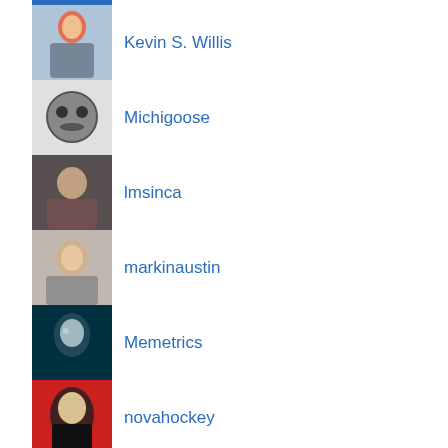Kevin S. Willis
Michigoose
lmsinca
markinaustin
Memetrics
novahockey
quarterback
ScottC
yellojkt
Moderately Cloudy
4th of July   2012   2013 and beyond   aca   administrative   Affordable Care Act   Basketball   big